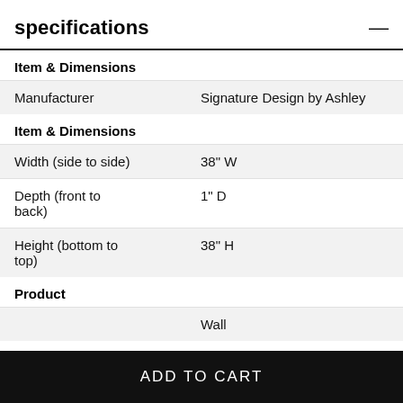specifications
| Item & Dimensions |  |
| Manufacturer | Signature Design by Ashley |
| Item & Dimensions |  |
| Width (side to side) | 38" W |
| Depth (front to back) | 1" D |
| Height (bottom to top) | 38" H |
| Product |  |
|  | Wall |
ADD TO CART